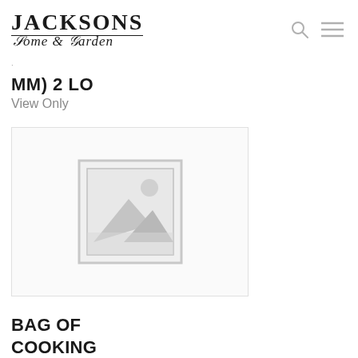JACKSONS Home & Garden
MM) 2 LO
View Only
[Figure (photo): Placeholder product image with a grey frame border and a landscape/mountains icon in the center]
BAG OF COOKING PECAN CHUNKS